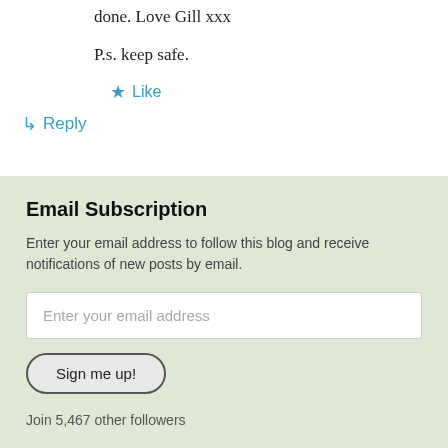done. Love Gill xxx
P.s. keep safe.
★ Like
↳ Reply
Email Subscription
Enter your email address to follow this blog and receive notifications of new posts by email.
Enter your email address
Sign me up!
Join 5,467 other followers